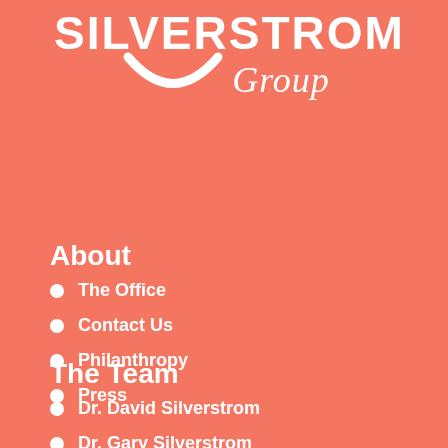[Figure (logo): Silverstrom Group logo with white text on coral/salmon background, featuring the word SILVERSTROM in bold uppercase, a white smile/arc graphic, and 'Group' in italic script beside it.]
About
The Office
Contact Us
Philanthropy
Press
The Team
Dr. David Silverstrom
Dr. Gary Silverstrom